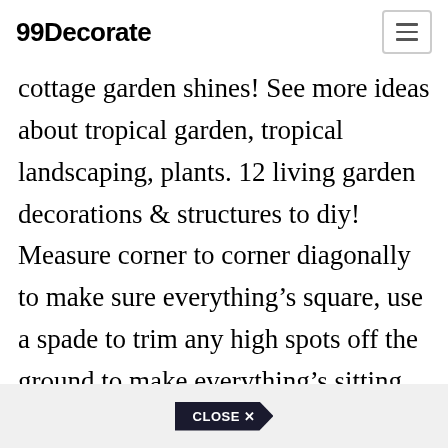99Decorate
cottage garden shines! See more ideas about tropical garden, tropical landscaping, plants. 12 living garden decorations & structures to diy! Measure corner to corner diagonally to make sure everything's square, use a spade to trim any high spots off the ground to make everything's sitting down level and you're ready to put the top planks on.